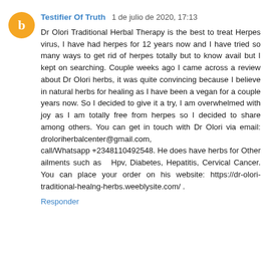Testifier Of Truth  1 de julio de 2020, 17:13
Dr Olori Traditional Herbal Therapy is the best to treat Herpes virus, I have had herpes for 12 years now and I have tried so many ways to get rid of herpes totally but to know avail but I kept on searching. Couple weeks ago I came across a review about Dr Olori herbs, it was quite convincing because I believe in natural herbs for healing as I have been a vegan for a couple years now. So I decided to give it a try, I am overwhelmed with joy as I am totally free from herpes so I decided to share among others. You can get in touch with Dr Olori via email: droloriherbalcenter@gmail.com, call/Whatsapp +2348110492548. He does have herbs for Other ailments such as  Hpv, Diabetes, Hepatitis, Cervical Cancer. You can place your order on his website: https://dr-olori-traditional-healng-herbs.weeblysite.com/ .
Responder